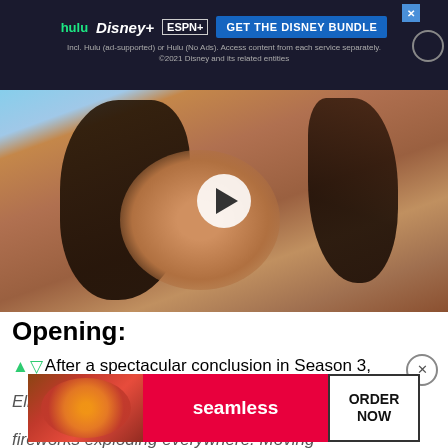[Figure (screenshot): Disney Bundle advertisement banner with Hulu, Disney+, ESPN+ logos and 'GET THE DISNEY BUNDLE' button on dark background. Small text: Incl. Hulu (ad-supported) or Hulu (No Ads). Access content from each service separately. ©2021 Disney and its related entities]
[Figure (photo): Video thumbnail showing a young man with long dark hair, smiling, at a beach setting with play button overlay]
Opening:
After a spectacular conclusion in Season 3, Elite starts Season 4 with Guzman at the Club... by the polic... fireworks exploding everywhere. Moving
[Figure (screenshot): Seamless food delivery advertisement with pizza image, seamless logo in red, and ORDER NOW button]